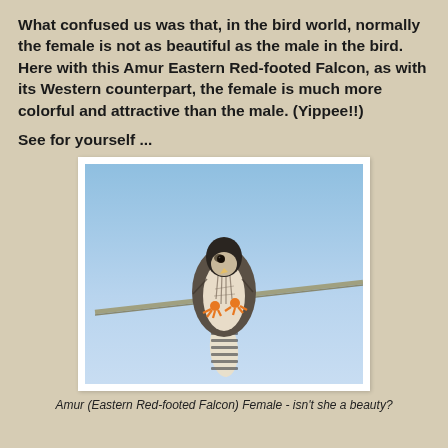What confused us was that, in the bird world, normally the female is not as beautiful as the male in the bird. Here with this Amur Eastern Red-footed Falcon, as with its Western counterpart, the female is much more colorful and attractive than the male. (Yippee!!)
See for yourself ...
[Figure (photo): A female Amur (Eastern Red-footed Falcon) perched on a wire, facing forward. The bird has a dark cap, patterned/streaked chest, orange-yellow feet gripping a diagonal wire, and a barred tail. Background is light blue sky.]
Amur (Eastern Red-footed Falcon) Female - isn't she a beauty?